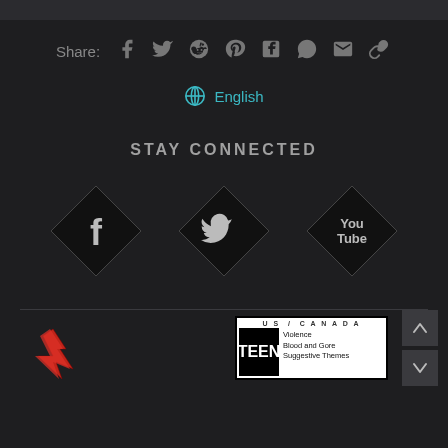[Figure (infographic): Dark top navigation bar]
Share: [facebook] [twitter] [reddit] [pinterest] [tumblr] [whatsapp] [email] [link]
🌐 English
STAY CONNECTED
[Figure (infographic): Three diamond-shaped social media buttons: Facebook, Twitter, YouTube]
[Figure (logo): CD Projekt Red logo with red creature graphic]
[Figure (other): ESRB rating box: US/CANADA TEEN - Violence, Blood and Gore, Suggestive Themes]
[Figure (other): Navigation up and down arrow buttons]